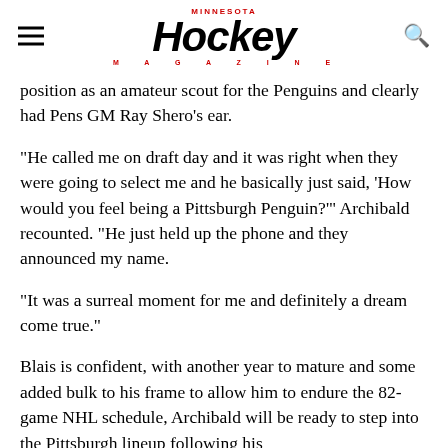MINNESOTA Hockey MAGAZINE
position as an amateur scout for the Penguins and clearly had Pens GM Ray Shero’s ear.
“He called me on draft day and it was right when they were going to select me and he basically just said, ‘How would you feel being a Pittsburgh Penguin?’” Archibald recounted. “He just held up the phone and they announced my name.
“It was a surreal moment for me and definitely a dream come true.”
Blais is confident, with another year to mature and some added bulk to his frame to allow him to endure the 82-game NHL schedule, Archibald will be ready to step into the Pittsburgh lineup following his